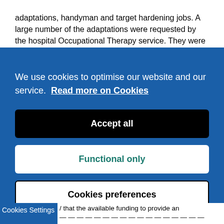adaptations, handyman and target hardening jobs. A large number of the adaptations were requested by the hospital Occupational Therapy service. They were often necessary before a vulnerable and often elderly patient could be released from hospital.
We use cookies to optimise our website and our service. Read more on Cookies
Accept all
Functional only
Cookies preferences
Cookies Settings / that the available funding to provide an